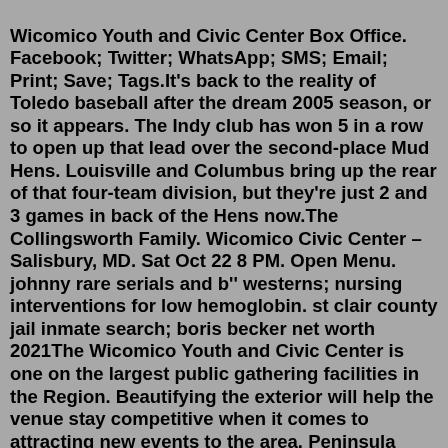Wicomico Youth and Civic Center Box Office. Facebook; Twitter; WhatsApp; SMS; Email; Print; Save; Tags.It's back to the reality of Toledo baseball after the dream 2005 season, or so it appears. The Indy club has won 5 in a row to open up that lead over the second-place Mud Hens. Louisville and Columbus bring up the rear of that four-team division, but they're just 2 and 3 games in back of the Hens now.The Collingsworth Family. Wicomico Civic Center – Salisbury, MD. Sat Oct 22 8 PM. Open Menu. johnny rare serials and b'' westerns; nursing interventions for low hemoglobin. st clair county jail inmate search; boris becker net worth 2021The Wicomico Youth and Civic Center is one on the largest public gathering facilities in the Region. Beautifying the exterior will help the venue stay competitive when it comes to attracting new events to the area. Peninsula Regional Medical Center/PRMC - 2-blks, Salisbury University - 1.5 mi, Wicomico River Harbor/Marina, Salisbury City Park, Salisbury Zoo,